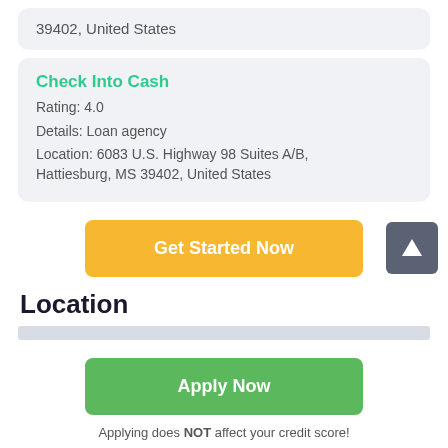39402, United States
Check Into Cash
Rating: 4.0
Details: Loan agency
Location: 6083 U.S. Highway 98 Suites A/B, Hattiesburg, MS 39402, United States
[Figure (other): Orange 'Get Started Now' button]
Location
[Figure (other): Map strip / location area placeholder]
[Figure (other): Green 'Apply Now' button]
Applying does NOT affect your credit score!
No credit check to apply.